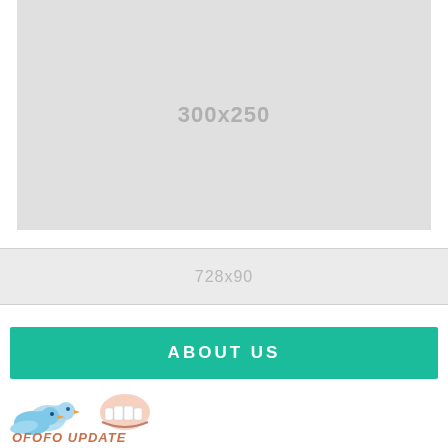[Figure (other): Advertisement placeholder box 300x250, light gray background with centered text '300x250']
[Figure (other): Advertisement placeholder banner 728x90, light gray background with centered text '728x90']
ABOUT US
[Figure (logo): Ofofo Update logo with two blue birds and a smiling teeth/mouth icon, with text 'OFOFO UPDATE' in stylized font]